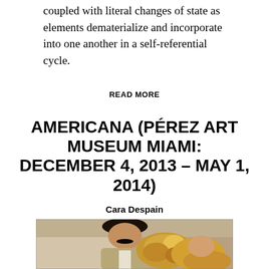coupled with literal changes of state as elements dematerialize and incorporate into one another in a self-referential cycle.
READ MORE
AMERICANA (PÉREZ ART MUSEUM MIAMI: DECEMBER 4, 2013 – MAY 1, 2014)
Cara Despain
[Figure (photo): A man with dark hair and a mustache in a light-colored suit, next to a woman with blonde hair, with a golden decorative object visible near them. Film still or video screenshot.]